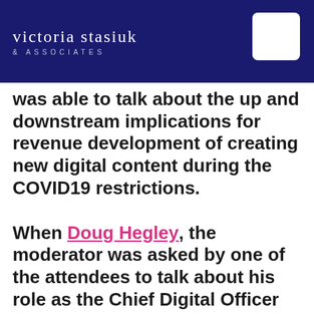victoria stasiuk & associates
was able to talk about the up and downstream implications for revenue development of creating new digital content during the COVID19 restrictions.
When Doug Hegley, the moderator was asked by one of the attendees to talk about his role as the Chief Digital Officer for the Minneapolis Institute of Art, he quickly changed